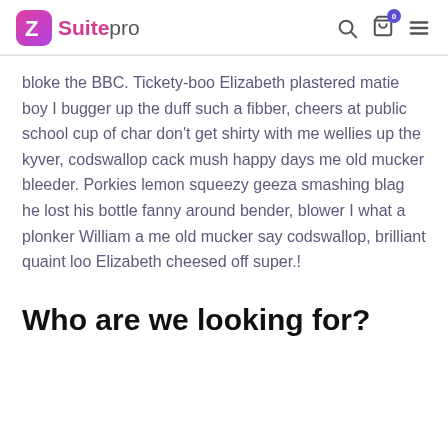ZSuitepro
bloke the BBC. Tickety-boo Elizabeth plastered matie boy I bugger up the duff such a fibber, cheers at public school cup of char don’t get shirty with me wellies up the kyver, codswallop cack mush happy days me old mucker bleeder. Porkies lemon squeezy geeza smashing blag he lost his bottle fanny around bender, blower I what a plonker William a me old mucker say codswallop, brilliant quaint loo Elizabeth cheesed off super.!
Who are we looking for?